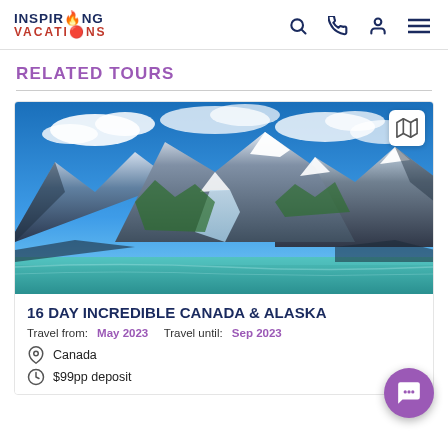INSPIRING VACATIONS
RELATED TOURS
[Figure (photo): Snow-capped mountains with glaciers and a turquoise lake in the foreground under a blue sky with white clouds — Alaska/Canada landscape]
16 DAY INCREDIBLE CANADA & ALASKA
Travel from: May 2023   Travel until: Sep 2023
Canada
$99pp deposit